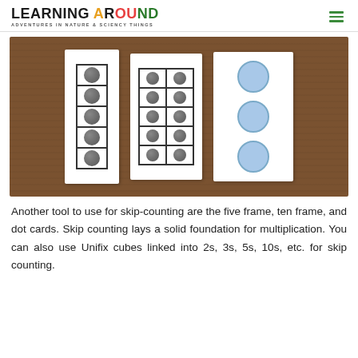LEARNING AROUND — ADVENTURES IN NATURE & SCIENCY THINGS
[Figure (photo): Three counting cards on a wooden table: a five-frame card with 5 dark dots in a vertical single column, a ten-frame card with 10 dark dots in a 2x5 grid, and a dot card with 3 large blue circles arranged vertically.]
Another tool to use for skip-counting are the five frame, ten frame, and dot cards. Skip counting lays a solid foundation for multiplication. You can also use Unifix cubes linked into 2s, 3s, 5s, 10s, etc. for skip counting.